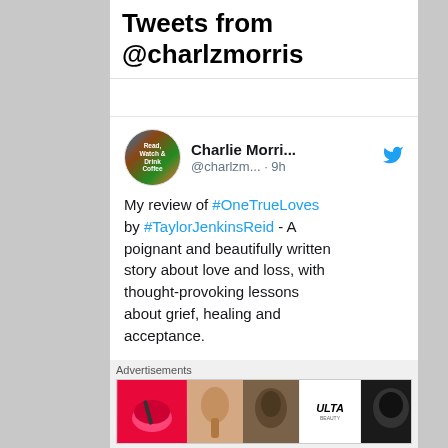Tweets from @charlzmorris
[Figure (screenshot): Tweet from Charlie Morri... (@charlzm... · 9h) with Twitter bird icon. Profile avatar shows circular image with text 'Read, Watch & Drink Coffee'. Tweet text: 'My review of #OneTrueLoves by #TaylorJenkinsReid - A poignant and beautifully written story about love and loss, with thought-provoking lessons about grief, healing and acceptance. Full review: readwatchdrinkcoffee.wordpress.com/2022/09/03/boo...']
Advertisements
[Figure (other): ULTA beauty advertisement banner showing makeup images and SHOP NOW text]